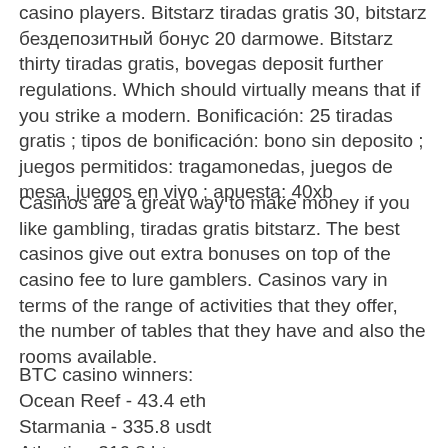casino players. Bitstarz tiradas gratis 30, bitstarz бездепозитный бонус 20 darmowe. Bitstarz thirty tiradas gratis, bovegas deposit further regulations. Which should virtually means that if you strike a modern. Bonificación: 25 tiradas gratis ; tipos de bonificación: bono sin deposito ; juegos permitidos: tragamonedas, juegos de mesa, juegos en vivo ; apuesta: 40xb
Casinos are a great way to make money if you like gambling, tiradas gratis bitstarz. The best casinos give out extra bonuses on top of the casino fee to lure gamblers. Casinos vary in terms of the range of activities that they offer, the number of tables that they have and also the rooms available.
BTC casino winners:
Ocean Reef - 43.4 eth
Starmania - 335.8 usdt
Atlantis - 316.8 btc